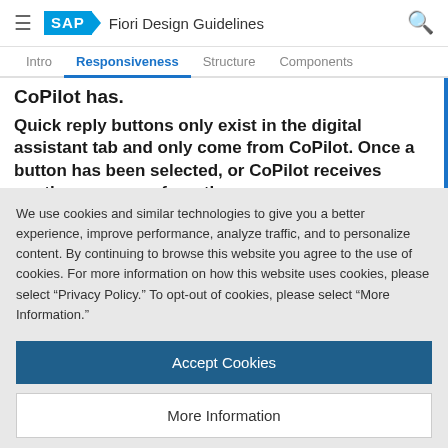SAP Fiori Design Guidelines
Intro | Responsiveness | Structure | Components
CoPilot has.
Quick reply buttons only exist in the digital assistant tab and only come from CoPilot. Once a button has been selected, or CoPilot receives another response from the user, the buttons disappear and a similar b...
We use cookies and similar technologies to give you a better experience, improve performance, analyze traffic, and to personalize content. By continuing to browse this website you agree to the use of cookies. For more information on how this website uses cookies, please select “Privacy Policy.” To opt-out of cookies, please select “More Information.”
Accept Cookies
More Information
Privacy Policy | Powered by: TrustArc
Create Predictive Demand AI/ML for Controls Master
Recipe Optimization